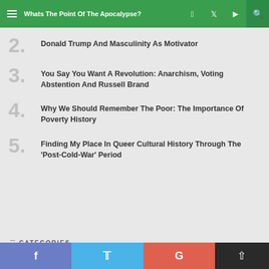Whats The Point Of The Apocalypse?
2. Donald Trump And Masculinity As Motivator
3. You Say You Want A Revolution: Anarchism, Voting Abstention And Russell Brand
4. Why We Should Remember The Poor: The Importance Of Poverty History
5. Finding My Place In Queer Cultural History Through The 'Post-Cold-War' Period
CATEGORIES
Facebook Twitter Google scroll-to-top